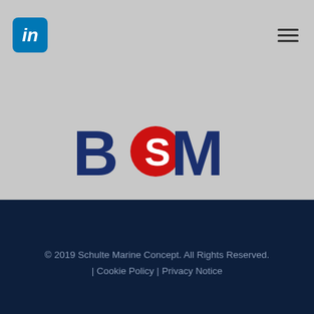[Figure (logo): LinkedIn icon - blue rounded square with white italic 'in' text]
[Figure (logo): BSM logo - bold dark blue letters B, S, M with red circle containing white S in the middle]
[Figure (logo): Schulte Group logo - dark serif text 'SCHULTE GROUP' with green flag icon containing red circle with white S]
© 2019 Schulte Marine Concept. All Rights Reserved. | Cookie Policy | Privacy Notice